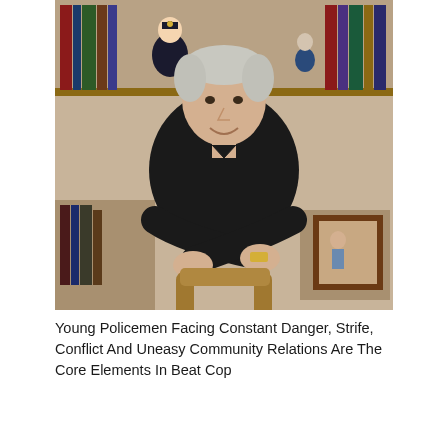[Figure (photo): A middle-aged man with gray-white hair, wearing a black zip-up top, sitting with arms crossed and leaning forward, smiling. Behind him are bookshelves with books and figurines, including a police officer figurine. He is wearing a gold watch.]
Young Policemen Facing Constant Danger, Strife, Conflict And Uneasy Community Relations Are The Core Elements In Beat Cop